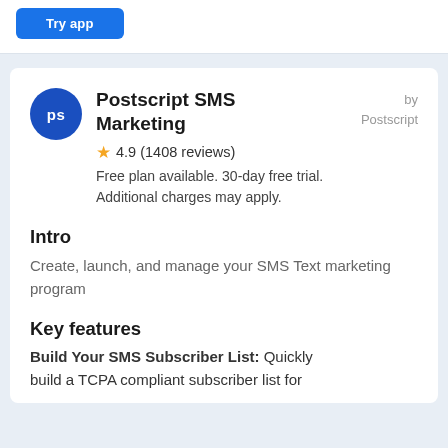[Figure (other): Blue button partially visible at top of page]
Postscript SMS Marketing
by Postscript
⭐ 4.9 (1408 reviews)
Free plan available. 30-day free trial. Additional charges may apply.
Intro
Create, launch, and manage your SMS Text marketing program
Key features
Build Your SMS Subscriber List: Quickly build a TCPA compliant subscriber list for...